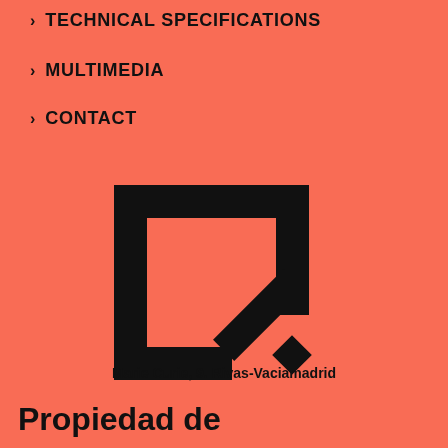TECHNICAL SPECIFICATIONS
MULTIMEDIA
CONTACT
[Figure (logo): Black square frame logo (open at bottom-right corner with diagonal accent element) on salmon/coral background]
Marie Curie, 9. Rivas-Vaciamadrid
Propiedad de